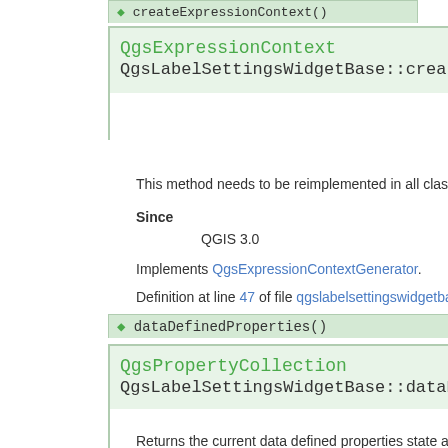◆ createExpressionContext()
QgsExpressionContext QgsLabelSettingsWidgetBase::createExpr
This method needs to be reimplemented in all classes which im
Since
QGIS 3.0
Implements QgsExpressionContextGenerator.
Definition at line 47 of file qgslabelsettingswidgetbase.cpp.
◆ dataDefinedProperties()
QgsPropertyCollection QgsLabelSettingsWidgetBase::dataDefine
Returns the current data defined properties state as specified i